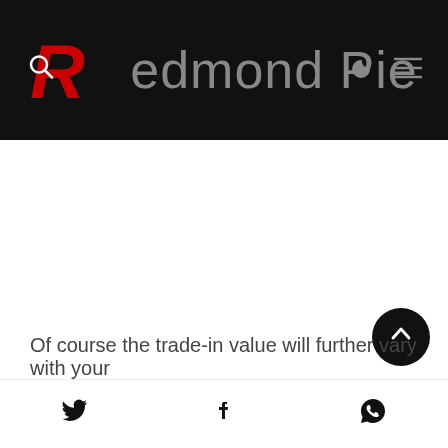Redmond Pie
[Figure (other): White empty content area / advertisement placeholder]
Of course the trade-in value will further vary with your
Social share icons: Twitter, Facebook, WhatsApp